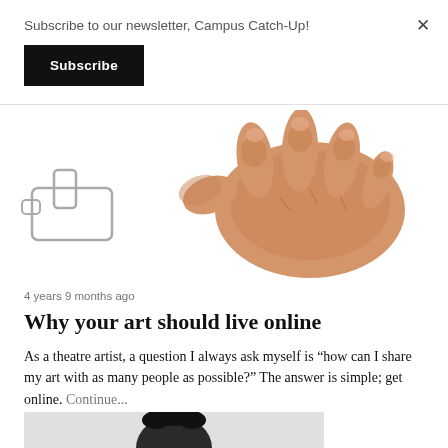Subscribe to our newsletter, Campus Catch-Up!
Subscribe
[Figure (illustration): Illustrated hands reaching toward each other — a realistic hand and a cursor/pointer icon hand from a computer, referencing digital art and online interaction]
4 years 9 months ago
Why your art should live online
As a theatre artist, a question I always ask myself is “how can I share my art with as many people as possible?” The answer is simple; get online. Continue...
[Figure (photo): Portrait photo of a person with dark hair, partially visible at the bottom of the page]